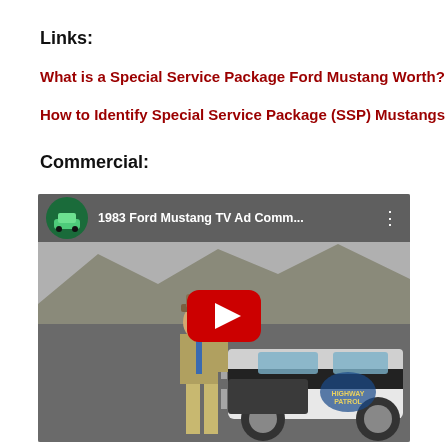Links:
What is a Special Service Package Ford Mustang Worth?
How to Identify Special Service Package (SSP) Mustangs
Commercial:
[Figure (screenshot): YouTube video thumbnail showing '1983 Ford Mustang TV Ad Comm...' with a highway patrol officer standing next to a black and white Ford Mustang police car on a desert road. A YouTube play button is overlaid in the center.]